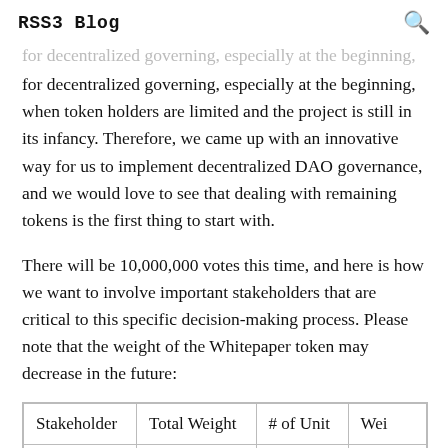RSS3 Blog
for decentralized governing, especially at the beginning, when token holders are limited and the project is still in its infancy. Therefore, we came up with an innovative way for us to implement decentralized DAO governance, and we would love to see that dealing with remaining tokens is the first thing to start with.
There will be 10,000,000 votes this time, and here is how we want to involve important stakeholders that are critical to this specific decision-making process. Please note that the weight of the Whitepaper token may decrease in the future:
| Stakeholder | Total Weight | # of Unit | Wei… |
| --- | --- | --- | --- |
| Team RET |  |  |  |